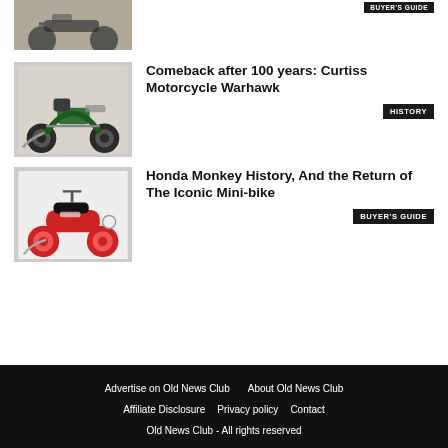[Figure (photo): Partial view of a motorcycle (cropped at top), dark/custom style]
[Figure (other): Small badge label reading BUYER'S GUIDE (partially visible at top right)]
Comeback after 100 years: Curtiss Motorcycle Warhawk
[Figure (photo): Curtiss Motorcycle Warhawk - vintage-style green and chrome motorcycle on grey background]
HISTORY
Honda Monkey History, And the Return of The Iconic Mini-bike
[Figure (photo): Honda Monkey - red and white retro mini-bike on white background]
BUYER'S GUIDE
Advertise on Old News Club   About Old News Club   Affiliate Disclosure   Privacy policy   Contact   Old News Club - All rights reserved